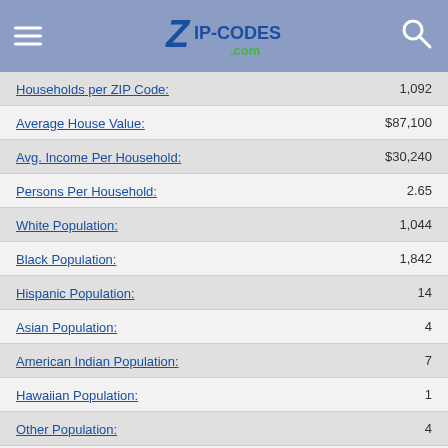Zip-Codes.com
| Category | Value |
| --- | --- |
| Households per ZIP Code: | 1,092 |
| Average House Value: | $87,100 |
| Avg. Income Per Household: | $30,240 |
| Persons Per Household: | 2.65 |
| White Population: | 1,044 |
| Black Population: | 1,842 |
| Hispanic Population: | 14 |
| Asian Population: | 4 |
| American Indian Population: | 7 |
| Hawaiian Population: | 1 |
| Other Population: | 4 |
| Male Population: | 1,414 |